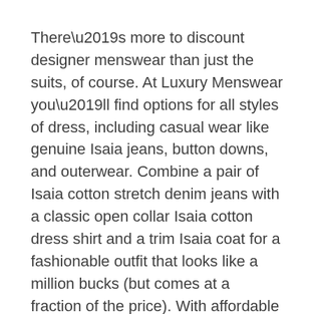There’s more to discount designer menswear than just the suits, of course. At Luxury Menswear you’ll find options for all styles of dress, including casual wear like genuine Isaia jeans, button downs, and outerwear. Combine a pair of Isaia cotton stretch denim jeans with a classic open collar Isaia cotton dress shirt and a trim Isaia coat for a fashionable outfit that looks like a million bucks (but comes at a fraction of the price). With affordable choices like this, you’ll never have to sacrifice fashion for comfort again.
Of course, every great outfit needs great accessories, and a truly fashion savvy man knows just where to buy. From wallets to gloves to ties, it’s the little things that count, and Luxury Menswear has it all at discount prices. Earn the instant respect